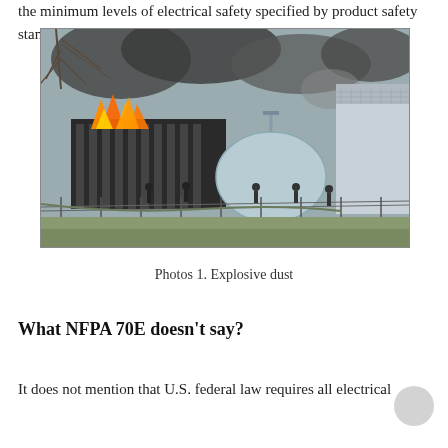the minimum levels of electrical safety specified by product safety standards.
[Figure (photo): Photo of an industrial fire incident showing flames on the left side of a building, a large spherical/cylindrical white storage tank in the center, industrial cooling equipment on the right, smoke rising, and several people standing near a fence in the foreground. Trees are visible in the background.]
Photos 1. Explosive dust
What NFPA 70E doesn't say?
It does not mention that U.S. federal law requires all electrical